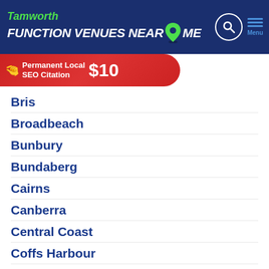Tamworth FUNCTION VENUES NEAR ME
[Figure (infographic): Red banner ad: Permanent Local SEO Citation $10]
Bris[bane] (partially visible)
Broadbeach
Bunbury
Bundaberg
Cairns
Canberra
Central Coast
Coffs Harbour
Darwin
Geelong
Gold Coast
Hervey Bay
Hobart